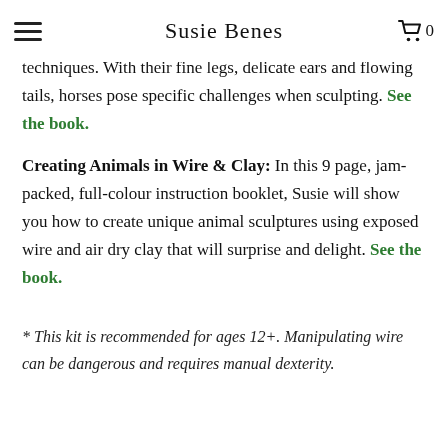Susie Benes
techniques. With their fine legs, delicate ears and flowing tails, horses pose specific challenges when sculpting. See the book.
Creating Animals in Wire & Clay: In this 9 page, jam-packed, full-colour instruction booklet, Susie will show you how to create unique animal sculptures using exposed wire and air dry clay that will surprise and delight. See the book.
* This kit is recommended for ages 12+. Manipulating wire can be dangerous and requires manual dexterity.